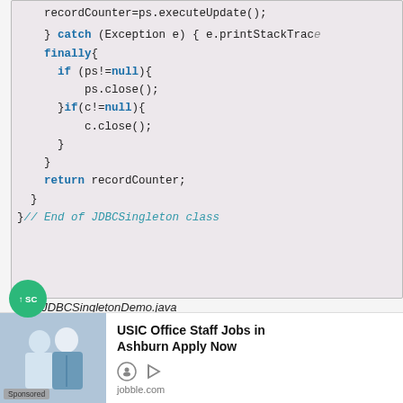[Figure (screenshot): Java code block showing finally block with if(ps!=null) ps.close(); if(c!=null) c.close(); closing braces, return recordCounter; and closing brace with comment //End of JDBCSingleton class]
File: JDBCSingletonDemo.java
[Figure (screenshot): Start of another Java code block showing: import java.io.BufferedReader;]
[Figure (photo): Advertisement: USIC Office Staff Jobs in Ashburn Apply Now — jobble.com. Shows a photo of two people in professional/medical attire. Sponsored label visible.]